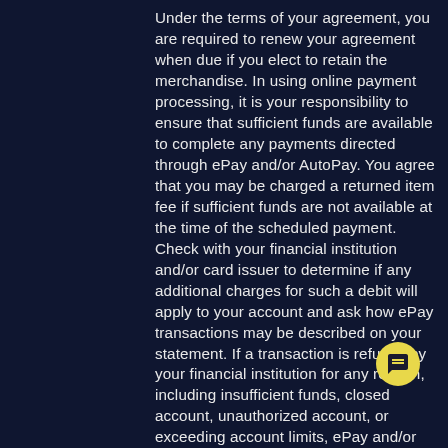Under the terms of your agreement, you are required to renew your agreement when due if you elect to retain the merchandise. In using online payment processing, it is your responsibility to ensure that sufficient funds are available to complete any payments directed through ePay and/or AutoPay. You agree that you may be charged a returned item fee if sufficient funds are not available at the time of the scheduled payment. Check with your financial institution and/or card issuer to determine if any additional charges for such a debit will apply to your account and ask how ePay transactions may be described on your statement. If a transaction is refused by your financial institution for any reason, including insufficient funds, closed account, unauthorized account, or exceeding account limits, ePay and/or AutoPay will not be able to process your payment and your Agreement may not renew. Under the terms of your Agreement, you may be subject to additional charges if your payment is rejected, reversed or refused by your financial institution. Upon completion of your agreement term or exercise of your early